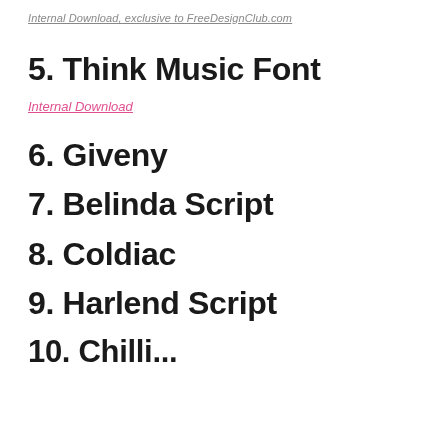Internal Download, exclusive to FreeDesignClub.com
5. Think Music Font
Internal Download
6. Giveny
7. Belinda Script
8. Coldiac
9. Harlend Script
10. Chilli...